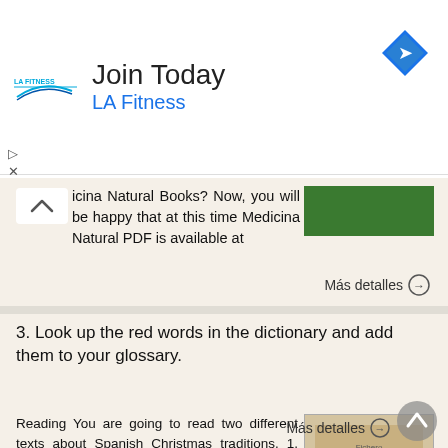[Figure (screenshot): LA Fitness advertisement banner with logo, 'Join Today' heading, blue subtitle, and navigation arrow icon]
icina Natural Books? Now, you will be happy that at this time Medicina Natural PDF is available at
Más detalles →
3. Look up the red words in the dictionary and add them to your glossary.
Reading You are going to read two different texts about Spanish Christmas traditions. 1. Working with a partner or in groups of three, try and predict what kinds of words will be in the text. Once you
Más detalles →